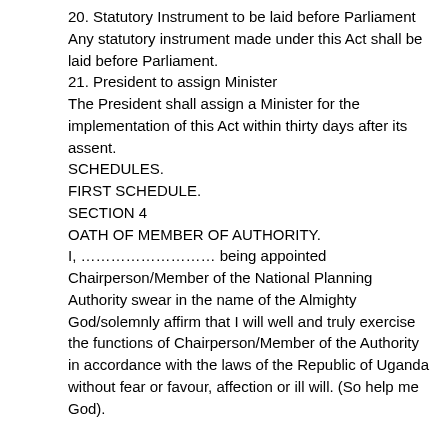20. Statutory Instrument to be laid before Parliament
Any statutory instrument made under this Act shall be laid before Parliament.
21. President to assign Minister
The President shall assign a Minister for the implementation of this Act within thirty days after its assent.
SCHEDULES.
FIRST SCHEDULE.
SECTION 4
OATH OF MEMBER OF AUTHORITY.
I, ……………………… being appointed Chairperson/Member of the National Planning Authority swear in the name of the Almighty God/solemnly affirm that I will well and truly exercise the functions of Chairperson/Member of the Authority in accordance with the laws of the Republic of Uganda without fear or favour, affection or ill will. (So help me God).